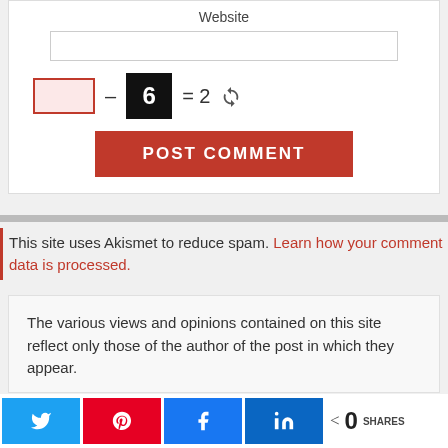Website
[Figure (other): CAPTCHA math puzzle: blank input box minus 6 equals 2, with refresh icon]
[Figure (other): POST COMMENT button in red]
This site uses Akismet to reduce spam. Learn how your comment data is processed.
The various views and opinions contained on this site reflect only those of the author of the post in which they appear.
[Figure (other): Social share bar with Twitter, Pinterest, Facebook, LinkedIn buttons and 0 SHARES count]